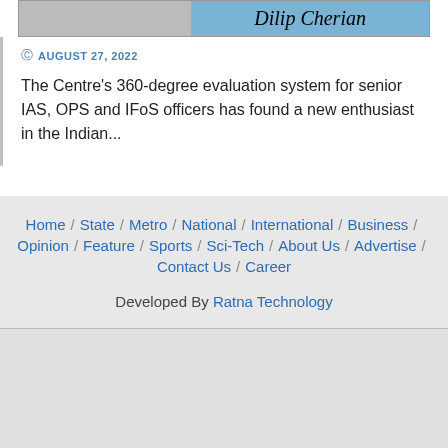[Figure (photo): Partial image showing text 'Dilip Cherian' on a blue banner with a person in dark clothing]
AUGUST 27, 2022
The Centre's 360-degree evaluation system for senior IAS, OPS and IFoS officers has found a new enthusiast in the Indian...
Home / State / Metro / National / International / Business / Opinion / Feature / Sports / Sci-Tech / About Us / Advertise / Contact Us / Career
Developed By Ratna Technology